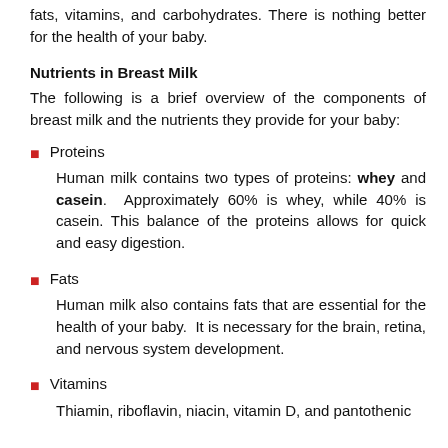fats, vitamins, and carbohydrates. There is nothing better for the health of your baby.
Nutrients in Breast Milk
The following is a brief overview of the components of breast milk and the nutrients they provide for your baby:
Proteins
Human milk contains two types of proteins: whey and casein. Approximately 60% is whey, while 40% is casein. This balance of the proteins allows for quick and easy digestion.
Fats
Human milk also contains fats that are essential for the health of your baby. It is necessary for the brain, retina, and nervous system development.
Vitamins
Thiamin, riboflavin, niacin, vitamin D, and pantothenic